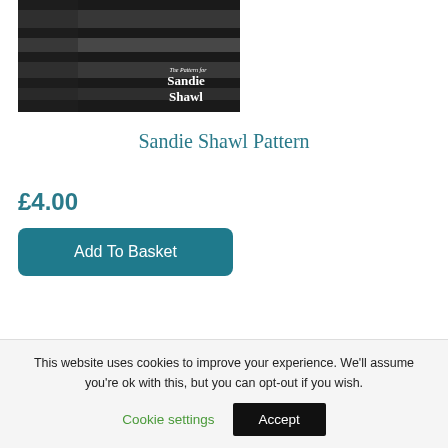[Figure (photo): Product photo of the Sandie Shawl Pattern book/leaflet, showing a person wearing a striped black and white shawl with text 'The Pattern for Sandie Shawl' overlaid]
Sandie Shawl Pattern
£4.00
Add To Basket
[Figure (photo): Partially visible thumbnail images at the bottom of the product page]
This website uses cookies to improve your experience. We'll assume you're ok with this, but you can opt-out if you wish.
Cookie settings
Accept